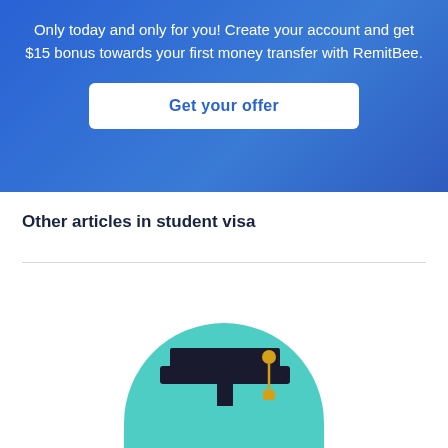Only today and only for you! Create your account and get $15 bonus towards your first money transfer with RemitBee.
[Figure (other): White button with blue text reading 'Get your offer' on a blue gradient background banner]
Other articles in student visa
[Figure (illustration): Illustration of a graduation cap on a teal/mint colored arch background]